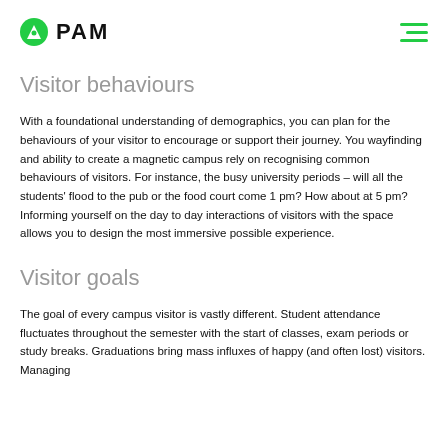PAM
Visitor behaviours
With a foundational understanding of demographics, you can plan for the behaviours of your visitor to encourage or support their journey. You wayfinding and ability to create a magnetic campus rely on recognising common behaviours of visitors. For instance, the busy university periods – will all the students' flood to the pub or the food court come 1 pm? How about at 5 pm? Informing yourself on the day to day interactions of visitors with the space allows you to design the most immersive possible experience.
Visitor goals
The goal of every campus visitor is vastly different. Student attendance fluctuates throughout the semester with the start of classes, exam periods or study breaks. Graduations bring mass influxes of happy (and often lost) visitors. Managing